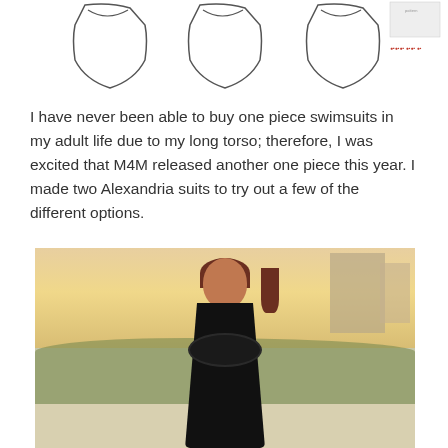[Figure (illustration): Sewing pattern line drawings of three swimsuit front views plus a small product image thumbnail with red text on the right side]
I have never been able to buy one piece swimsuits in my adult life due to my long torso; therefore, I was excited that M4M released another one piece this year. I made two Alexandria suits to try out a few of the different options.
[Figure (photo): A woman with long auburn hair wearing a black halter-neck one-piece swimsuit with ruffled front detail, standing on a beach with sea oats and buildings in the background at golden hour]